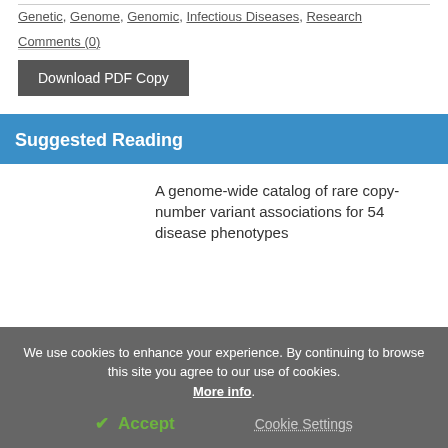Genetic, Genome, Genomic, Infectious Diseases, Research
Comments (0)
Download PDF Copy
Suggested Reading
A genome-wide catalog of rare copy-number variant associations for 54 disease phenotypes
We use cookies to enhance your experience. By continuing to browse this site you agree to our use of cookies. More info.
✓ Accept   Cookie Settings